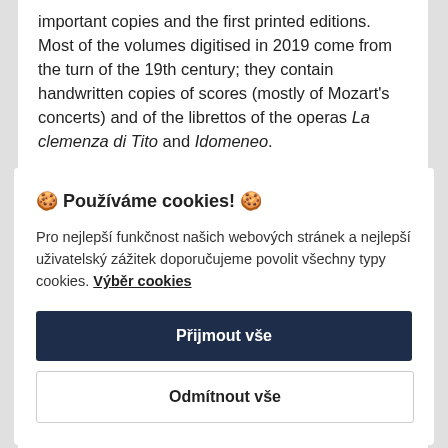important copies and the first printed editions. Most of the volumes digitised in 2019 come from the turn of the 19th century; they contain handwritten copies of scores (mostly of Mozart's concerts) and of the librettos of the operas La clemenza di Tito and Idomeneo.
🍪 Používáme cookies! 🍪
Pro nejlepší funkčnost našich webových stránek a nejlepší uživatelský zážitek doporučujeme povolit všechny typy cookies. Výběr cookies
Přijmout vše
Odmítnout vše
military events in the Rhineland at the end